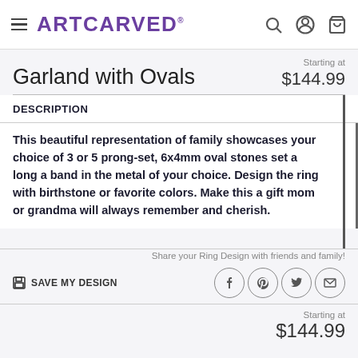ARTCARVED
Garland with Ovals
Starting at $144.99
DESCRIPTION
This beautiful representation of family showcases your choice of 3 or 5 prong-set, 6x4mm oval stones set a long a band in the metal of your choice. Design the ring with birthstone or favorite colors. Make this a gift mom or grandma will always remember and cherish.
Share your Ring Design with friends and family!
SAVE MY DESIGN
Starting at $144.99